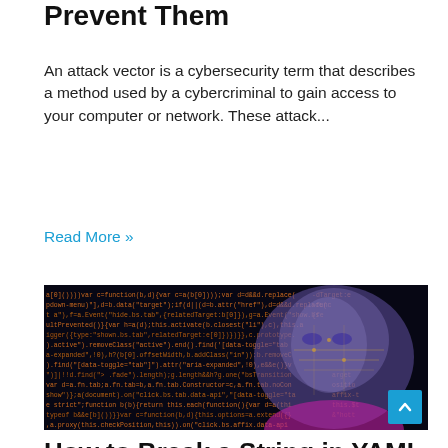Prevent Them
An attack vector is a cybersecurity term that describes a method used by a cybercriminal to gain access to your computer or network. These attack...
Read More »
[Figure (photo): A composite image of a woman's face overlaid with circuit board patterns and scrolling green/orange code text, representing AI or cyber hacking themes. A blue scroll-to-top button is visible in the bottom right corner.]
How to Break a String in YAML over